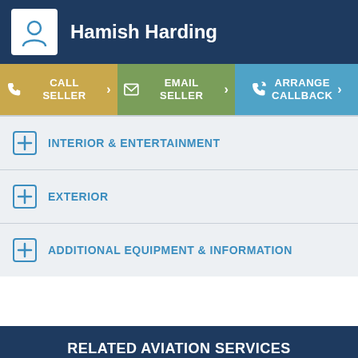Hamish Harding
CALL SELLER
EMAIL SELLER
ARRANGE CALLBACK
INTERIOR & ENTERTAINMENT
EXTERIOR
ADDITIONAL EQUIPMENT & INFORMATION
RELATED AVIATION SERVICES
GULFSTREAM G450 UK, ENGLAND
CHANGE LOCATION